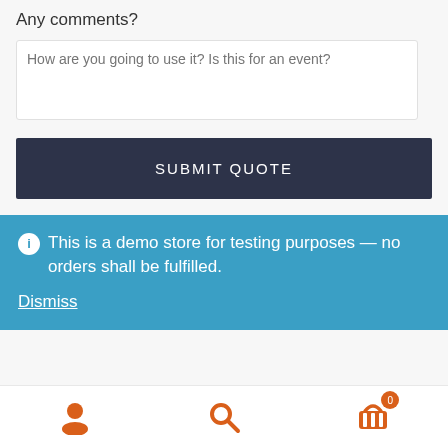Any comments?
How are you going to use it? Is this for an event?
SUBMIT QUOTE
This is a demo store for testing purposes — no orders shall be fulfilled.
Dismiss
[Figure (infographic): Bottom navigation bar with user icon, search icon, and shopping cart icon with badge showing 0]